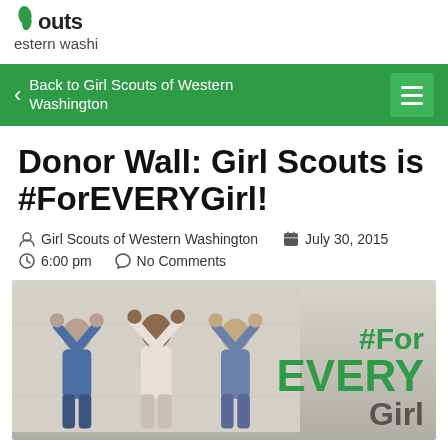[Figure (logo): Girl Scouts logo — green leaf/teardrop shape with text 'outs' and 'estern washi' (partially cropped logo of Girl Scouts of Eastern/Western Washington)]
Back to Girl Scouts of Western Washington
Donor Wall: Girl Scouts is #ForEVERYGirl!
Girl Scouts of Western Washington   July 30, 2015
6:00 pm   No Comments
[Figure (photo): Three girls standing against a white wall with arms raised forming heart/arch shapes above their heads. Text overlay reads '#For EVERY Girl' in green and gray.]